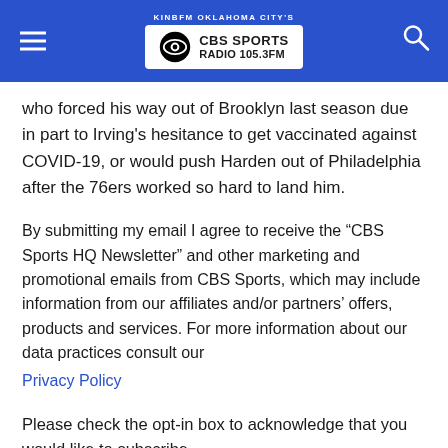KINBFM OKLAHOMA CITY'S CBS SPORTS RADIO 105.3FM
who forced his way out of Brooklyn last season due in part to Irving's hesitance to get vaccinated against COVID-19, or would push Harden out of Philadelphia after the 76ers worked so hard to land him.
By submitting my email I agree to receive the “CBS Sports HQ Newsletter” and other marketing and promotional emails from CBS Sports, which may include information from our affiliates and/or partners’ offers, products and services. For more information about our data practices consult our Privacy Policy
Please check the opt-in box to acknowledge that you would like to subscribe.
Thanks for signing up!